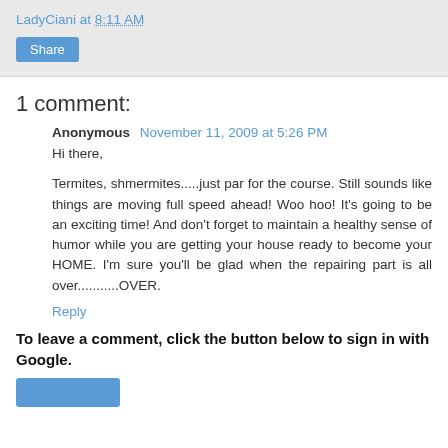LadyCiani at 8:11 AM
Share
1 comment:
Anonymous November 11, 2009 at 5:26 PM
Hi there,

Termites, shmermites.....just par for the course. Still sounds like things are moving full speed ahead! Woo hoo! It's going to be an exciting time! And don't forget to maintain a healthy sense of humor while you are getting your house ready to become your HOME. I'm sure you'll be glad when the repairing part is all over...........OVER.
Reply
To leave a comment, click the button below to sign in with Google.